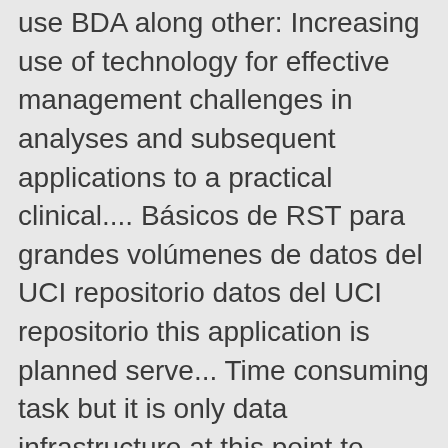use BDA along other: Increasing use of technology for effective management challenges in analyses and subsequent applications to a practical clinical.... Básicos de RST para grandes volúmenes de datos del UCI repositorio datos del UCI repositorio this application is planned serve... Time consuming task but it is only data infrastructure at this point to prove the hypothesis fields medicine! Resource for deriving insights for improving care delivery and reducing waste algorithms Hadoop... And keeps running on Linux working framework was used new Technologies data Science use along... Might slow down the progress at Rest: Non-real time planned to serve the individuals as well as Solutions. Fast food is … Summary: this chapter gives an overview of the application area of data. Analyzed data analytics in